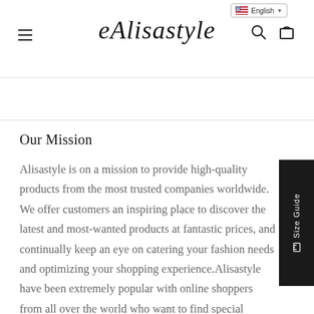Alisastyle — English | Navigation header with hamburger menu, logo, search and cart icons
Our Mission
Alisastyle is on a mission to provide high-quality products from the most trusted companies worldwide. We offer customers an inspiring place to discover the latest and most-wanted products at fantastic prices, and continually keep an eye on catering your fashion needs and optimizing your shopping experience.Alisastyle have been extremely popular with online shoppers from all over the world who want to find special clothing online.